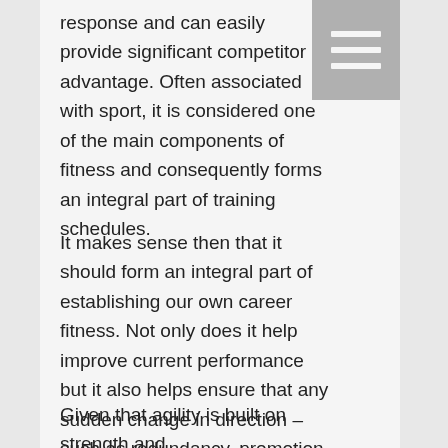response and can easily provide significant competitor advantage. Often associated with sport, it is considered one of the main components of fitness and consequently forms an integral part of training schedules.
It makes sense then that it should form an integral part of establishing our own career fitness. Not only does it help improve current performance but it also helps ensure that any sudden change in direction – such as redundancy, promotion or career shifts – are navigated with relative ease and strength.
Given that agility is built on strength and